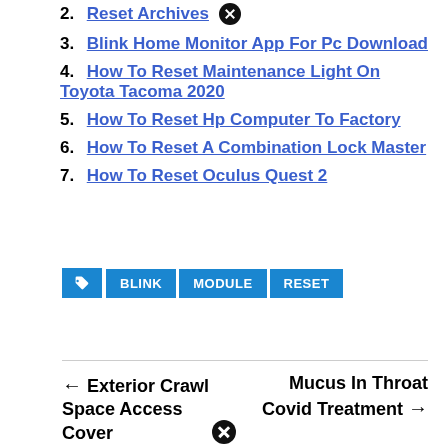2. Reset Archives
3. Blink Home Monitor App For Pc Download
4. How To Reset Maintenance Light On Toyota Tacoma 2020
5. How To Reset Hp Computer To Factory
6. How To Reset A Combination Lock Master
7. How To Reset Oculus Quest 2
Tags: BLINK  MODULE  RESET
← Exterior Crawl Space Access Cover
Mucus In Throat Covid Treatment →